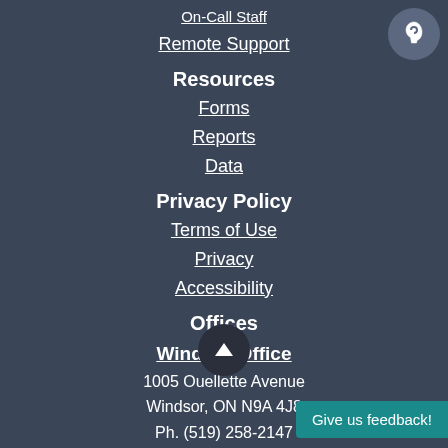On-Call Staff
Remote Support
Resources
Forms
Reports
Data
Privacy Policy
Terms of Use
Privacy
Accessibility
Offices
Windsor Office
1005 Ouellette Avenue
Windsor, ON  N9A 4J8
Ph. (519) 258-2147
Leamington Office